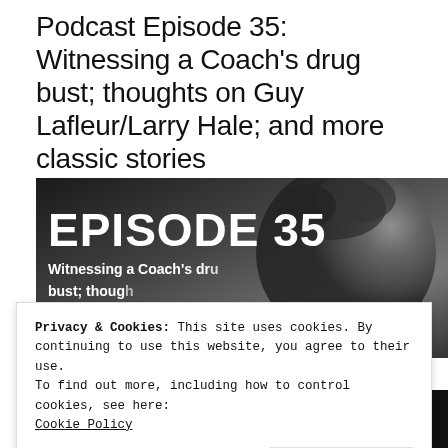Podcast Episode 35: Witnessing a Coach's drug bust; thoughts on Guy Lafleur/Larry Hale; and more classic stories
[Figure (photo): Black and white photo with white bold text overlay reading 'EPISODE 35' and subtitle 'Witnessing a Coach's drug bust; thoughts on Guy Lafleur/Larry Hale; more classic stories'. A person's face with curly hair is visible on the right side.]
Privacy & Cookies: This site uses cookies. By continuing to use this website, you agree to their use.
To find out more, including how to control cookies, see here: Cookie Policy
[Figure (photo): Black and white photo bottom strip showing partial text or image, large bold letters visible.]